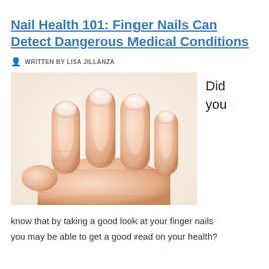Nail Health 101: Finger Nails Can Detect Dangerous Medical Conditions
WRITTEN BY LISA JILLANZA
[Figure (photo): Close-up photograph of a human hand showing four fingers with healthy, trimmed fingernails against a light background.]
Did you know that by taking a good look at your finger nails you may be able to get a good read on your health?